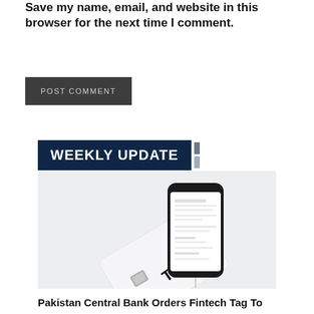Save my name, email, and website in this browser for the next time I comment.
POST COMMENT
WEEKLY UPDATE
[Figure (photo): A smartphone and a TAG-branded payment card with a chip, lying on a light gray background]
Pakistan Central Bank Orders Fintech Tag To